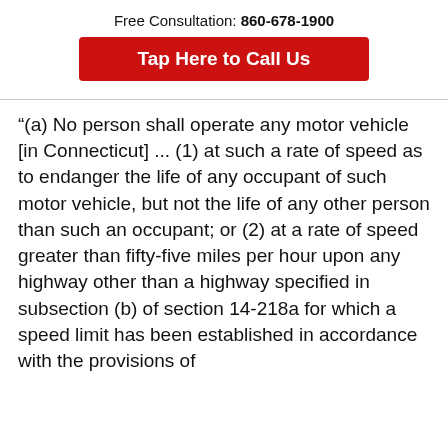Free Consultation: 860-678-1900
Tap Here to Call Us
"(a) No person shall operate any motor vehicle [in Connecticut] ... (1) at such a rate of speed as to endanger the life of any occupant of such motor vehicle, but not the life of any other person than such an occupant; or (2) at a rate of speed greater than fifty-five miles per hour upon any highway other than a highway specified in subsection (b) of section 14-218a for which a speed limit has been established in accordance with the provisions of